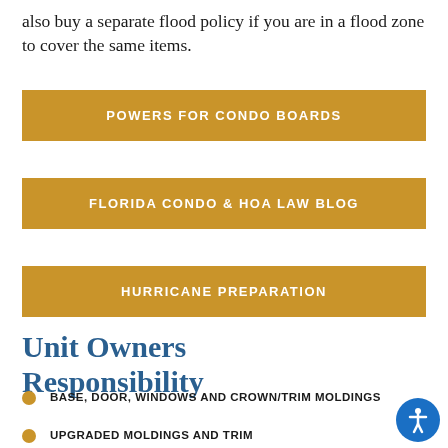also buy a separate flood policy if you are in a flood zone to cover the same items.
POWERS FOR CONDO BOARDS
FLORIDA CONDO & HOA LAW BLOG
HURRICANE PREPARATION
Unit Owners Responsibility
BASE, DOOR, WINDOWS AND CROWN/TRIM MOLDINGS
UPGRADED MOLDINGS AND TRIM